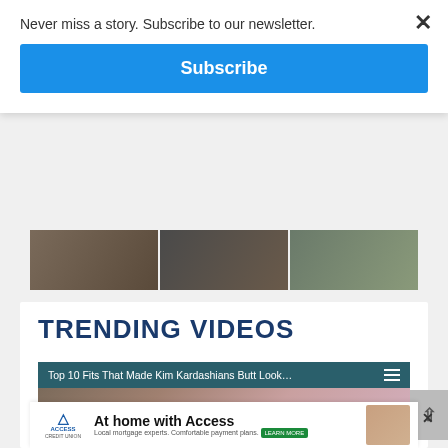Never miss a story. Subscribe to our newsletter.
Subscribe
[Figure (photo): Three thumbnail images in a horizontal strip]
TRENDING VIDEOS
[Figure (screenshot): Video thumbnail for 'Top 10 Fits That Made Kim Kardashians Butt Look...' with mute icon and Met Gala badge overlay]
[Figure (photo): Access Credit Union advertisement: 'At home with Access' with family photo]